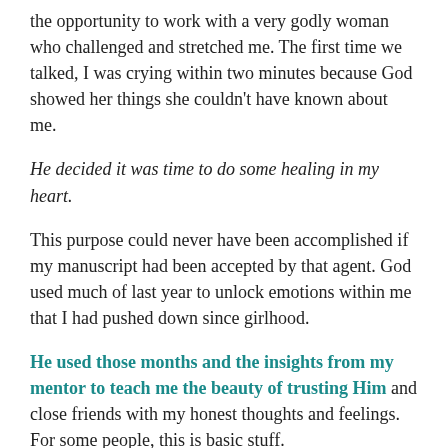the opportunity to work with a very godly woman who challenged and stretched me. The first time we talked, I was crying within two minutes because God showed her things she couldn't have known about me.
He decided it was time to do some healing in my heart.
This purpose could never have been accomplished if my manuscript had been accepted by that agent. God used much of last year to unlock emotions within me that I had pushed down since girlhood.
He used those months and the insights from my mentor to teach me the beauty of trusting Him and close friends with my honest thoughts and feelings. For some people, this is basic stuff.